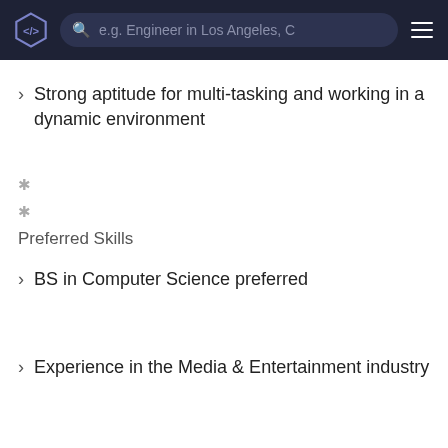e.g. Engineer in Los Angeles, C
Strong aptitude for multi-tasking and working in a dynamic environment
*
*
Preferred Skills
BS in Computer Science preferred
Experience in the Media & Entertainment industry